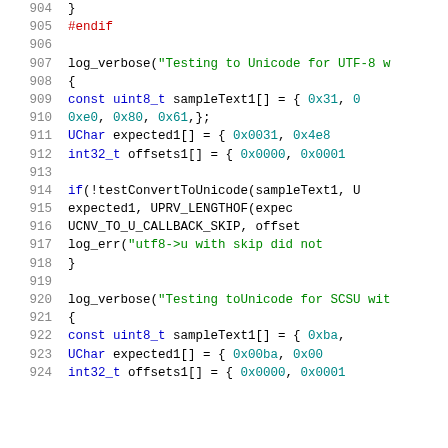Source code listing, lines 904-924, C/C++ code for Unicode conversion testing
904     }
905   #endif
906
907       log_verbose("Testing to Unicode for UTF-8 w
908       {
909           const uint8_t sampleText1[] = { 0x31, 0
910               0xe0, 0x80,  0x61,};
911           UChar    expected1[] = {  0x0031, 0x4e8
912           int32_t offsets1[] = {    0x0000, 0x0001
913
914           if(!testConvertToUnicode(sampleText1, U
915                   expected1, UPRV_LENGTHOF(expec
916                   UCNV_TO_U_CALLBACK_SKIP, offset
917               log_err("utf8->u with skip did not
918       }
919
920       log_verbose("Testing toUnicode for SCSU wit
921       {
922           const uint8_t sampleText1[] = {  0xba,
923           UChar    expected1[] = {  0x00ba, 0x00
924           int32_t offsets1[] = {    0x0000, 0x0001